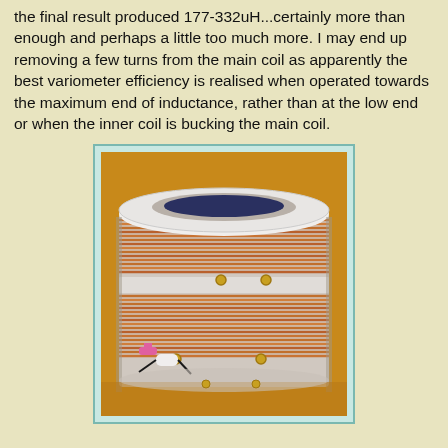the final result produced 177-332uH...certainly more than enough and perhaps a little too much more. I may end up removing a few turns from the main coil as apparently the best variometer efficiency is realised when operated towards the maximum end of inductance, rather than at the low end or when the inner coil is bucking the main coil.
[Figure (photo): Photograph of a variometer coil assembly: a cylindrical PVC form with copper wire wound around it in multiple layers, showing brass binding posts and connection leads, sitting on a wooden surface.]